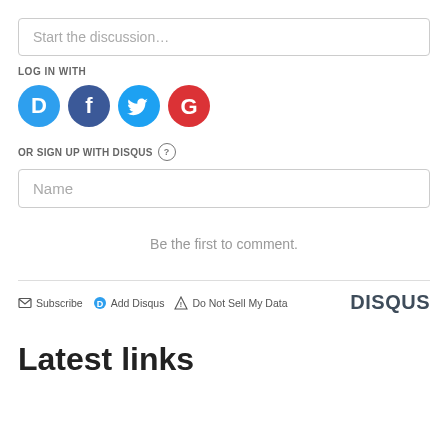Start the discussion…
LOG IN WITH
[Figure (illustration): Four social login icons: Disqus (blue circle with D), Facebook (dark blue circle with f), Twitter (light blue circle with bird), Google (red circle with G)]
OR SIGN UP WITH DISQUS ?
Name
Be the first to comment.
Subscribe  Add Disqus  Do Not Sell My Data  DISQUS
Latest links